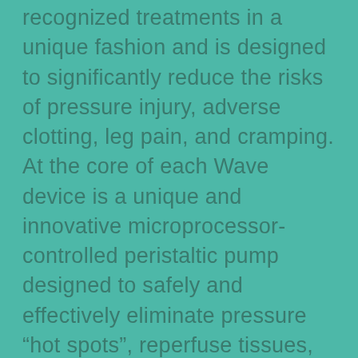recognized treatments in a unique fashion and is designed to significantly reduce the risks of pressure injury, adverse clotting, leg pain, and cramping. At the core of each Wave device is a unique and innovative microprocessor-controlled peristaltic pump designed to safely and effectively eliminate pressure “hot spots”, reperfuse tissues, and improve return blood flow to the heart and lungs. A future enhancement will include malfunction sensors and alarms to insure safe usage with at-risk populations, and a wireless staff alert system that can notify care providers of possible falls, medical emergencies, and suspected elopements. Future products will